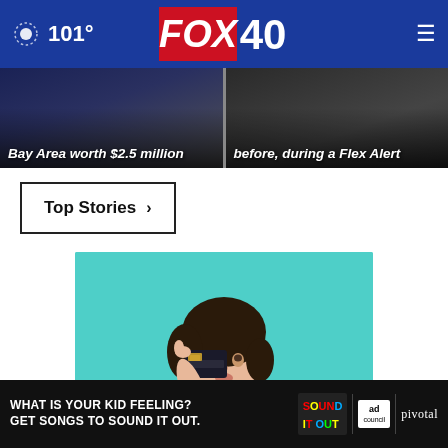101° FOX 40
Bay Area worth $2.5 million
before, during a Flex Alert
Top Stories ›
[Figure (photo): Woman holding a credit card over one eye against a teal background]
[Figure (photo): Bottom ad: WHAT IS YOUR KID FEELING? GET SONGS TO SOUND IT OUT. Sound It Out ad by Ad Council and Pivotal]